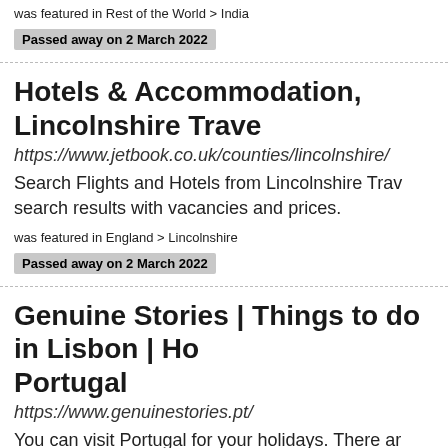was featured in Rest of the World > India
Passed away on 2 March 2022
Hotels & Accommodation, Lincolnshire Trave
https://www.jetbook.co.uk/counties/lincolnshire/
Search Flights and Hotels from Lincolnshire Trav search results with vacancies and prices.
was featured in England > Lincolnshire
Passed away on 2 March 2022
Genuine Stories | Things to do in Lisbon | Ho Portugal
https://www.genuinestories.pt/
You can visit Portugal for your holidays. There ar do in Lisbon on your holidays in Portugal. Portug very fun and exciting with family and friends.